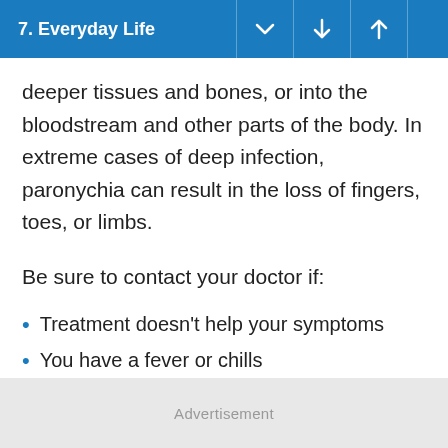7. Everyday Life
deeper tissues and bones, or into the bloodstream and other parts of the body. In extreme cases of deep infection, paronychia can result in the loss of fingers, toes, or limbs.
Be sure to contact your doctor if:
Treatment doesn't help your symptoms
You have a fever or chills
Advertisement